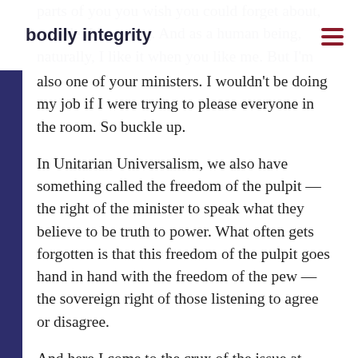bodily integrity
also one of your ministers. I wouldn't be doing my job if I were trying to please everyone in the room. So buckle up.
In Unitarian Universalism, we also have something called the freedom of the pulpit — the right of the minister to speak what they believe to be truth to power. What often gets forgotten is that this freedom of the pulpit goes hand in hand with the freedom of the pew — the sovereign right of those listening to agree or disagree.
And here I come to the crux of the issue at hand in our culture this week: it is assumed, in our tradition, that we will have a diversity of beliefs. It is HOW we communicate about and